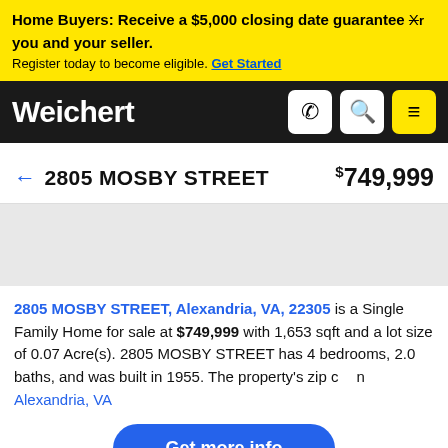Home Buyers: Receive a $5,000 closing date guarantee Xr you and your seller. Register today to become eligible. Get Started
Weichert
← 2805 MOSBY STREET    $749,999
2805 MOSBY STREET, Alexandria, VA, 22305 is a Single Family Home for sale at $749,999 with 1,653 sqft and a lot size of 0.07 Acre(s). 2805 MOSBY STREET has 4 bedrooms, 2.0 baths, and was built in 1955. The property's zip co... h Alexandria, VA
Get more info